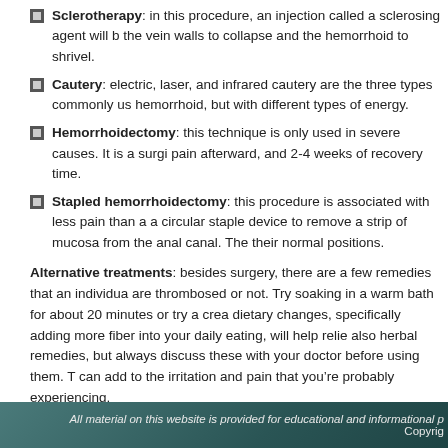Sclerotherapy: in this procedure, an injection called a sclerosing agent will b the vein walls to collapse and the hemorrhoid to shrivel.
Cautery: electric, laser, and infrared cautery are the three types commonly us hemorrhoid, but with different types of energy.
Hemorrhoidectomy: this technique is only used in severe causes. It is a surgi pain afterward, and 2-4 weeks of recovery time.
Stapled hemorrhoidectomy: this procedure is associated with less pain than a a circular staple device to remove a strip of mucosa from the anal canal. The their normal positions.
Alternative treatments: besides surgery, there are a few remedies that an individua are thrombosed or not. Try soaking in a warm bath for about 20 minutes or try a crea dietary changes, specifically adding more fiber into your daily eating, will help reli also herbal remedies, but always discuss these with your doctor before using them. T can add to the irritation and pain that you’re probably experiencing.
Last updated on Oct 14th, 2010 and filed under Cardiovascular Disorders. Both comments and pings are
Comments are closed
All material on this website is provided for educational and informational p
Copyrig